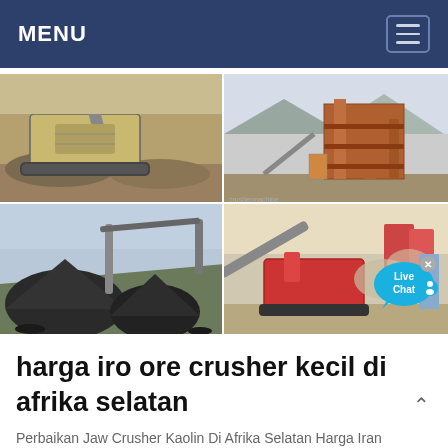MENU
[Figure (photo): Four-panel grid of mining and crushing equipment photos: top-left shows a large jaw crusher/mobile crusher in a quarry; top-right shows a multi-level industrial screening/crushing plant structure; bottom-left shows large piles of dark crushed aggregate with a conveyor belt; bottom-right shows a red mobile crusher/screening plant in operation with dust clouds.]
harga iro ore crusher kecil di afrika selatan
Perbaikan Jaw Crusher Kaolin Di Afrika Selatan Harga Iran